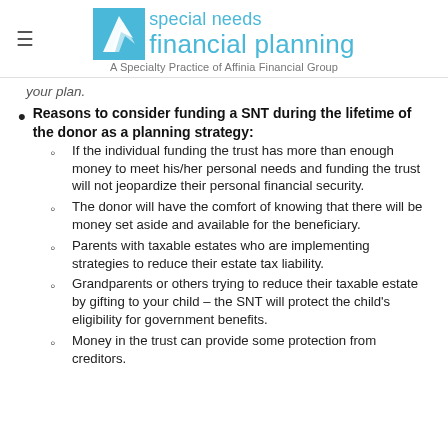[Figure (logo): Special Needs Financial Planning logo with blue wing icon and text 'special needs financial planning - A Specialty Practice of Affinia Financial Group']
your plan.
Reasons to consider funding a SNT during the lifetime of the donor as a planning strategy:
If the individual funding the trust has more than enough money to meet his/her personal needs and funding the trust will not jeopardize their personal financial security.
The donor will have the comfort of knowing that there will be money set aside and available for the beneficiary.
Parents with taxable estates who are implementing strategies to reduce their estate tax liability.
Grandparents or others trying to reduce their taxable estate by gifting to your child – the SNT will protect the child's eligibility for government benefits.
Money in the trust can provide some protection from creditors.